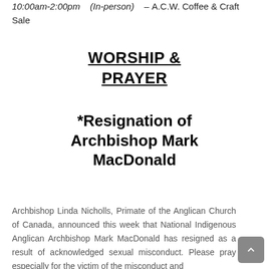10:00am-2:00pm    (In-person)   –  A.C.W. Coffee & Craft Sale
WORSHIP & PRAYER
*Resignation of Archbishop Mark MacDonald
Archbishop Linda Nicholls, Primate of the Anglican Church of Canada, announced this week that National Indigenous Anglican Archbishop Mark MacDonald has resigned as a result of acknowledged sexual misconduct. Please pray especially for the victim of the misconduct and